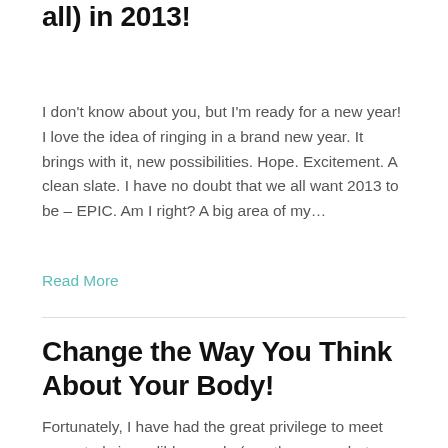all) in 2013!
I don't know about you, but I'm ready for a new year! I love the idea of ringing in a brand new year. It brings with it, new possibilities. Hope. Excitement. A clean slate. I have no doubt that we all want 2013 to be – EPIC. Am I right? A big area of my…
Read More
Change the Way You Think About Your Body!
Fortunately, I have had the great privilege to meet some truly incredible people (mostly women but